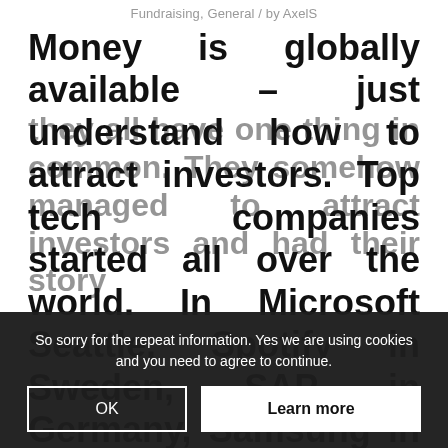Fundraising, General / by AxelS
Money is globally available – just understand how to attract investors. Top tech companies started all over the world. In Microsoft Seattle, Spotify in Sweden, SAP in Germany, Samsung in Korea, Sony in Japan, Acer in Taiwan, Atos in France, Euthereum in Switzerland...
So sorry for the repeat information. Yes we are using cookies and you need to agree to continue.